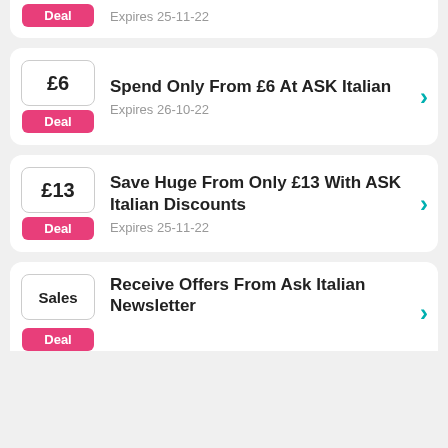Deal — Expires 25-11-22
Spend Only From £6 At ASK Italian — Deal — Expires 26-10-22
Save Huge From Only £13 With ASK Italian Discounts — Deal — Expires 25-11-22
Receive Offers From Ask Italian Newsletter — Sales